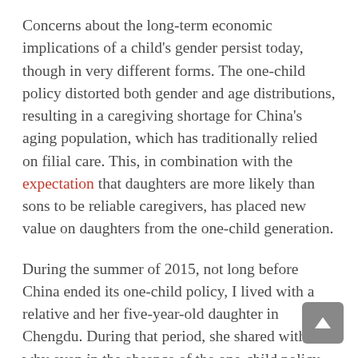Concerns about the long-term economic implications of a child's gender persist today, though in very different forms. The one-child policy distorted both gender and age distributions, resulting in a caregiving shortage for China's aging population, which has traditionally relied on filial care. This, in combination with the expectation that daughters are more likely than sons to be reliable caregivers, has placed new value on daughters from the one-child generation.
During the summer of 2015, not long before China ended its one-child policy, I lived with a relative and her five-year-old daughter in Chengdu. During that period, she shared with me why even in the absence of the one-child policy, she and many other parents her age would choose not to have a second child. The cost of raising a child had steeply increased as parents became expected to invest all their resources into one child, so to be among the first families to have a second child